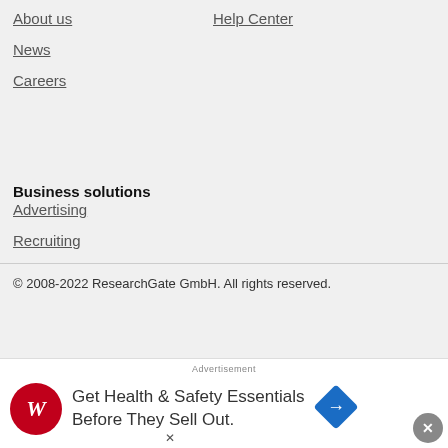About us
Help Center
News
Careers
Business solutions
Advertising
Recruiting
© 2008-2022 ResearchGate GmbH. All rights reserved.
[Figure (infographic): Advertisement banner for Walgreens: Get Health & Safety Essentials Before They Sell Out.]